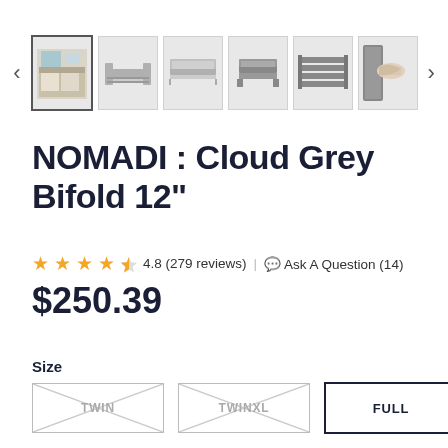[Figure (screenshot): Product thumbnail image strip with 6 product photos of a bed frame, with left and right navigation arrows]
NOMADI : Cloud Grey Bifold 12"
4.8 (279 reviews) | Ask A Question (14)
$250.39
Size
TWIN | TWINXL | FULL